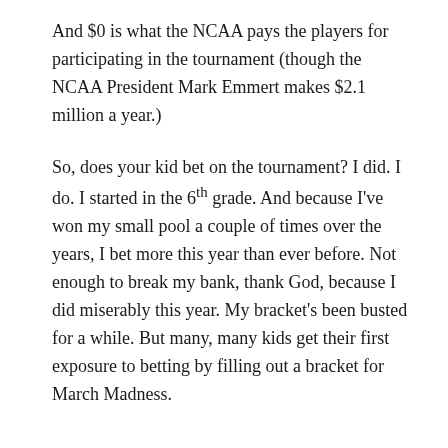And $0 is what the NCAA pays the players for participating in the tournament (though the NCAA President Mark Emmert makes $2.1 million a year.)
So, does your kid bet on the tournament? I did. I do. I started in the 6th grade. And because I've won my small pool a couple of times over the years, I bet more this year than ever before. Not enough to break my bank, thank God, because I did miserably this year. My bracket's been busted for a while. But many, many kids get their first exposure to betting by filling out a bracket for March Madness.